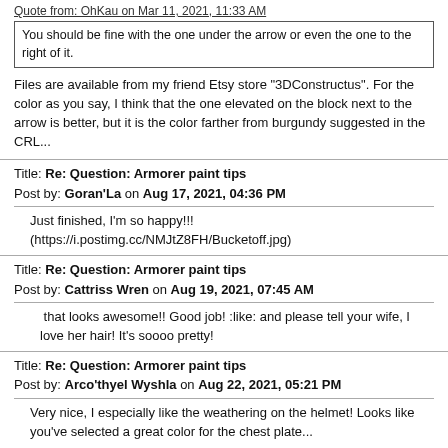Quote from: OhKau on Mar 11, 2021, 11:33 AM
You should be fine with the one under the arrow or even the one to the right of it.
Files are available from my friend Etsy store "3DConstructus". For the color as you say, I think that the one elevated on the block next to the arrow is better, but it is the color farther from burgundy suggested in the CRL...
Title: Re: Question: Armorer paint tips
Post by: Goran'La on Aug 17, 2021, 04:36 PM
Just finished, I'm so happy!!!
(https://i.postimg.cc/NMJtZ8FH/Bucketoff.jpg)
Title: Re: Question: Armorer paint tips
Post by: Cattriss Wren on Aug 19, 2021, 07:45 AM
that looks awesome!! Good job! :like: and please tell your wife, I love her hair! It's soooo pretty!
Title: Re: Question: Armorer paint tips
Post by: Arco'thyel Wyshla on Aug 22, 2021, 05:21 PM
Very nice, I especially like the weathering on the helmet! Looks like you've selected a great color for the chest plate...